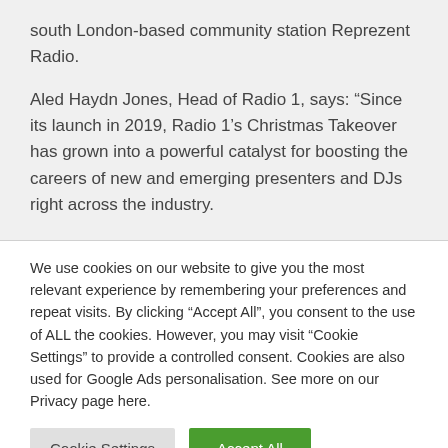south London-based community station Reprezent Radio.
Aled Haydn Jones, Head of Radio 1, says: “Since its launch in 2019, Radio 1’s Christmas Takeover has grown into a powerful catalyst for boosting the careers of new and emerging presenters and DJs right across the industry.
We use cookies on our website to give you the most relevant experience by remembering your preferences and repeat visits. By clicking “Accept All”, you consent to the use of ALL the cookies. However, you may visit “Cookie Settings” to provide a controlled consent. Cookies are also used for Google Ads personalisation. See more on our Privacy page here.
Cookie Settings | Accept All